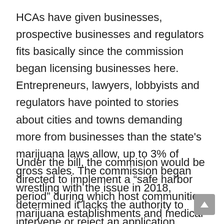HCAs have given businesses, prospective businesses and regulators fits basically since the commission began licensing businesses here. Entrepreneurs, lawyers, lobbyists and regulators have pointed to stories about cities and towns demanding more from businesses than the state's marijuana laws allow, up to 3% of gross sales. The commission began wrestling with the issue in 2018, determined it lacks the authority to intervene or reject an application based on the HCA and voted in January 2019 to formally request that the Legislature give it that authority.
Under the bill, the commision would be directed to implement a “safe harbor period” during which host communities, marijuana establishments and medical marijuana treatment centers “shall renegotiate in good fa any existing host community agreement that is out of